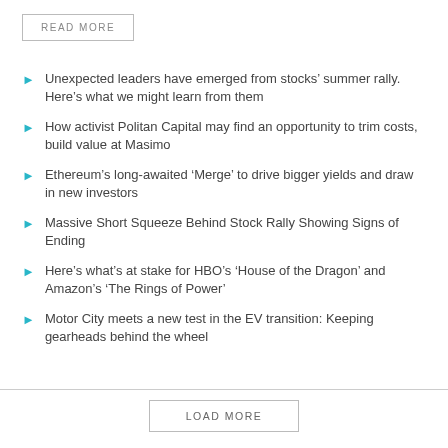READ MORE
Unexpected leaders have emerged from stocks’ summer rally. Here’s what we might learn from them
How activist Politan Capital may find an opportunity to trim costs, build value at Masimo
Ethereum’s long-awaited ‘Merge’ to drive bigger yields and draw in new investors
Massive Short Squeeze Behind Stock Rally Showing Signs of Ending
Here’s what’s at stake for HBO’s ‘House of the Dragon’ and Amazon’s ‘The Rings of Power’
Motor City meets a new test in the EV transition: Keeping gearheads behind the wheel
LOAD MORE